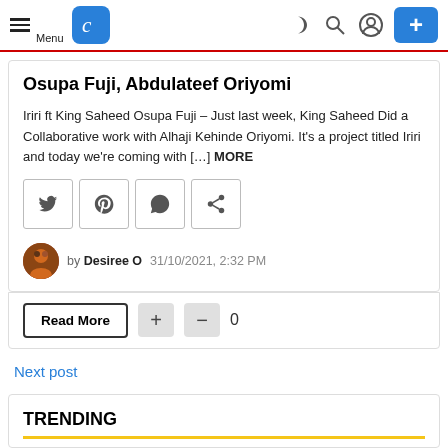Menu [logo] [dark mode] [search] [account] [+]
Osupa Fuji, Abdulateef Oriyomi
Iriri ft King Saheed Osupa Fuji – Just last week, King Saheed Did a Collaborative work with Alhaji Kehinde Oriyomi. It's a project titled Iriri and today we're coming with […] MORE
[Figure (infographic): Social share buttons: Twitter, Pinterest, WhatsApp, Share]
by Desiree O  31/10/2021, 2:32 PM
Read More  +  −  0
Next post
TRENDING